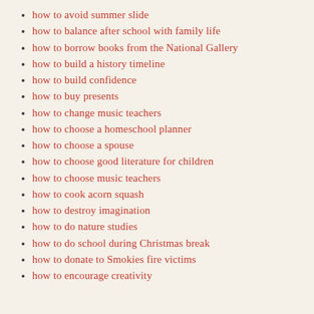how to avoid summer slide
how to balance after school with family life
how to borrow books from the National Gallery
how to build a history timeline
how to build confidence
how to buy presents
how to change music teachers
how to choose a homeschool planner
how to choose a spouse
how to choose good literature for children
how to choose music teachers
how to cook acorn squash
how to destroy imagination
how to do nature studies
how to do school during Christmas break
how to donate to Smokies fire victims
how to encourage creativity